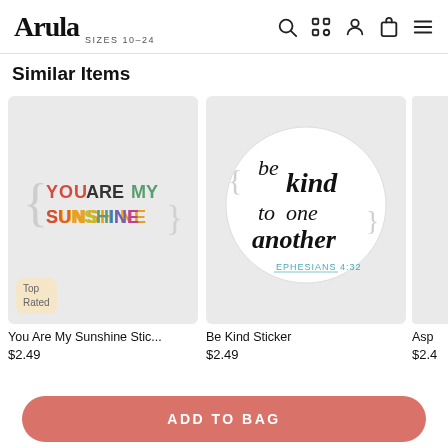Arula SIZES 10-24
Similar Items
[Figure (screenshot): You Are My Sunshine sticker with colorful block letters on light gray background, with Top Rated badge]
You Are My Sunshine Stic...
$2.49
[Figure (screenshot): Be kind to one another sticker in cursive script with EPHESIANS 4:32 text on light gray background]
Be Kind Sticker
$2.49
Asp
$2.4
ADD TO BAG